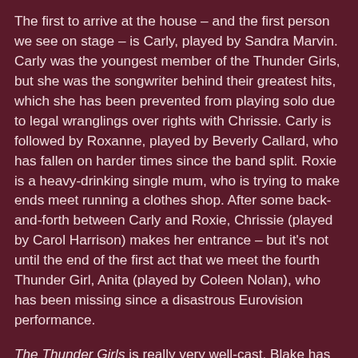The first to arrive at the house – and the first person we see on stage – is Carly, played by Sandra Marvin. Carly was the youngest member of the Thunder Girls, but she was the songwriter behind their greatest hits, which she has been prevented from playing solo due to legal wranglings over rights with Chrissie. Carly is followed by Roxanne, played by Beverly Callard, who has fallen on harder times since the band split. Roxie is a heavy-drinking single mum, who is trying to make ends meet running a clothes shop. After some back-and-forth between Carly and Roxie, Chrissie (played by Carol Harrison) makes her entrance – but it's not until the end of the first act that we meet the fourth Thunder Girl, Anita (played by Coleen Nolan), who has been missing since a disastrous Eurovision performance.
The Thunder Girls is really very well-cast. Blake has been hands-on with most aspects of the production, and she cast the show herself (with Angela Squire). There are some well-judged decisions made. Callard, Harrison and Marvin are all well-known from soap operas, meaning that they are well able to handle the high-drama, histrionics and stinging dialogue. (And this is the only play I've seen this year that's